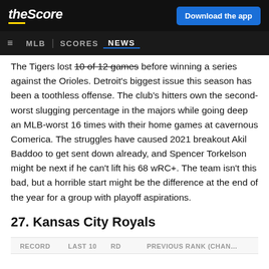theScore | Download the app | MLB | SCORES | NEWS
The Tigers lost 10 of 12 games before winning a series against the Orioles. Detroit's biggest issue this season has been a toothless offense. The club's hitters own the second-worst slugging percentage in the majors while going deep an MLB-worst 16 times with their home games at cavernous Comerica. The struggles have caused 2021 breakout Akil Baddoo to get sent down already, and Spencer Torkelson might be next if he can't lift his 68 wRC+. The team isn't this bad, but a horrible start might be the difference at the end of the year for a group with playoff aspirations.
27. Kansas City Royals
| RECORD | LAST 10 | RD | PREVIOUS RANK (CHANGE) |
| --- | --- | --- | --- |